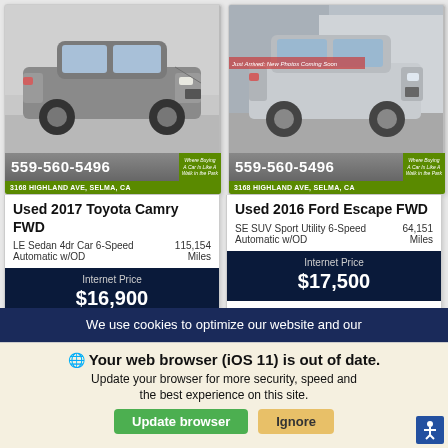[Figure (photo): Used 2017 Toyota Camry FWD - gray sedan parked outdoors, front three-quarter view]
[Figure (photo): Used 2016 Ford Escape FWD - silver SUV parked in front of a building, front three-quarter view with 'Just Arrived: New Photos Coming Soon' label overlay]
Used 2017 Toyota Camry FWD
LE Sedan 4dr Car 6-Speed Automatic w/OD
115,154 Miles
Internet Price
$16,900
Used 2016 Ford Escape FWD
SE SUV Sport Utility 6-Speed Automatic w/OD
64,151 Miles
Internet Price
$17,500
We use cookies to optimize our website and our
Your web browser (iOS 11) is out of date.
Update your browser for more security, speed and the best experience on this site.
Update browser
Ignore